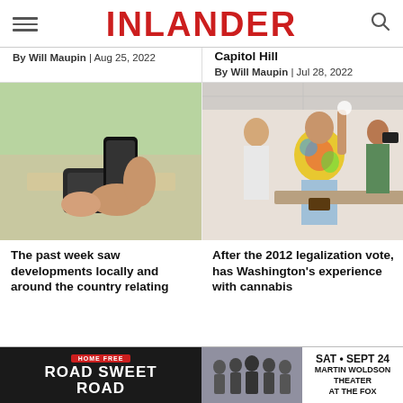INLANDER
By Will Maupin | Aug 25, 2022
Capitol Hill
By Will Maupin | Jul 28, 2022
[Figure (photo): Hands using a smartphone at a payment terminal on a counter]
[Figure (photo): A person in a tie-dye shirt raising their hand in celebration at what appears to be a cannabis dispensary, with camera crew filming]
The past week saw developments locally and around the country relating
After the 2012 legalization vote, has Washington's experience with cannabis
[Figure (infographic): Advertisement: Home Free - Road Sweet Road. SAT • SEPT 24 Martin Woldson Theater at the Fox]